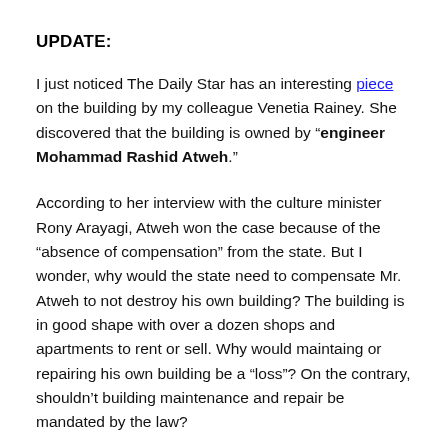UPDATE:
I just noticed The Daily Star has an interesting piece on the building by my colleague Venetia Rainey. She discovered that the building is owned by “engineer Mohammad Rashid Atweh.”
According to her interview with the culture minister Rony Arayagi, Atweh won the case because of the “absence of compensation” from the state. But I wonder, why would the state need to compensate Mr. Atweh to not destroy his own building? The building is in good shape with over a dozen shops and apartments to rent or sell. Why would maintaing or repairing his own building be a “loss”? On the contrary, shouldn’t building maintenance and repair be mandated by the law?